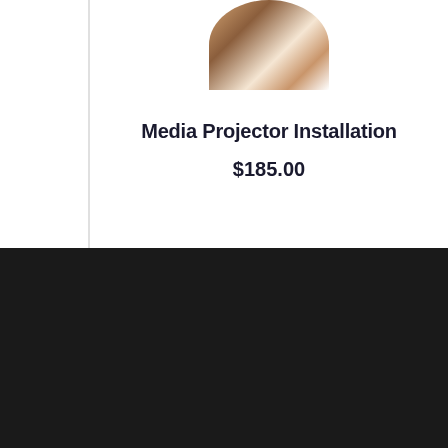[Figure (photo): Partial product photo (media projector installation related image), cropped at top]
Media Projector Installation
$185.00
[Figure (logo): Gotahand.com logo in white and orange italic bold text on dark background]
We provide handyman and home improvement services through leading and experienced handyman professionals with a valuable clientele.